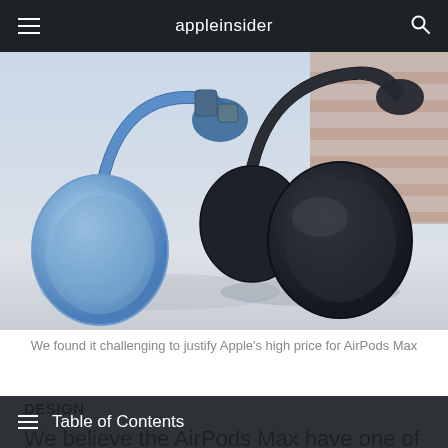appleinsider
[Figure (photo): Two AirPods Max headphones side by side on a reflective surface — one in blue/sky blue color on the left, one in dark space gray on the right. Brick wall visible in background.]
We found it challenging to justify Apple's high price for AirPods Max
DESIGN
We believe the AirPods Max have one of the most bespoke designs ever created for a set of headphones. The stainless steel headband is coated with a mesh material similar to
Table of Contents